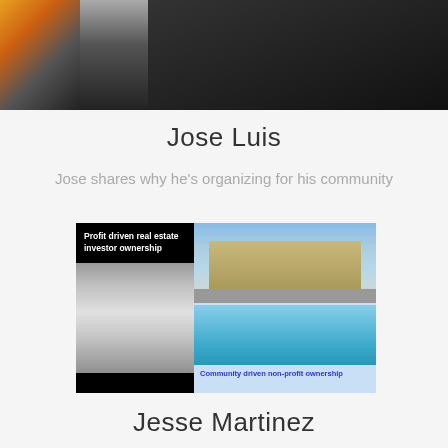[Figure (photo): Top partial photo of a person in dark clothing with colorful lights visible on the left side]
Jose Luis
Jose shares why he’s organizing for his community
[Figure (illustration): Comparison image showing left panel: black background with white text 'Profit driven real estate investor ownership' and black-and-white photo of a building; right panel: light blue background with color photo of a house, color photo of a swimming pool, and bold blue text 'Community driven non-profit ownership']
Jesse Martinez